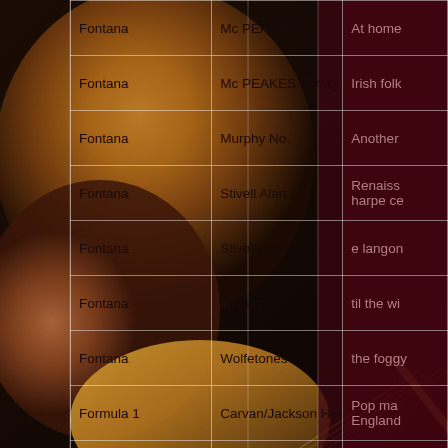[Figure (photo): Background photo of a musician with curly hair playing guitar, taken from above/side angle, warm amber and dark tones]
| Label | Artist | Title |
| --- | --- | --- |
| Fontana | Mc PEAKES | At home |
| Fontana | Mc PEAKES Family | Irish folk |
| Fontana | Murphy No. | Another |
| Fontana | Stivell Alan | Renaissance harpe ce |
| Fontana | Stivell Alan | e langon |
| Fontana | Tinkers | til the wi |
| Fontana | Wolfetones | the foggy |
| Formula 1 | Carvan/Jackson Heights | Pop mad England |
| foulk records | Raoul Pohre | Vivant |
| Galaxy | Pepper Art | Today |